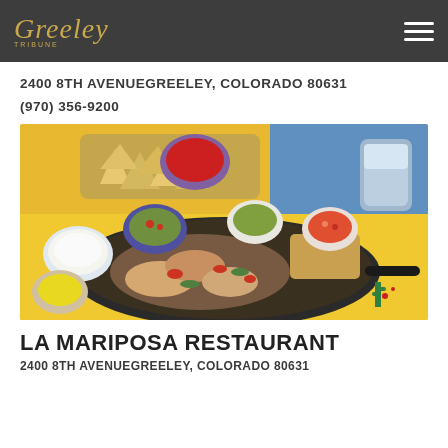Greeley
2400 8TH AVENUEGREELEY, COLORADO 80631
(970) 356-9200
[Figure (photo): A sizzling cast-iron skillet of fajitas with grilled chicken and steak, surrounded by side dishes including guacamole, pico de gallo, sour cream, shredded cheese, and salsa, with tortilla chips and a frosted drink in the background, on a colorful yellow tablecloth.]
LA MARIPOSA RESTAURANT
2400 8TH AVENUEGREELEY, COLORADO 80631